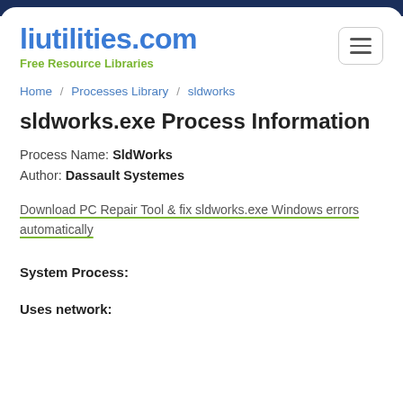liutilities.com — Free Resource Libraries
Home / Processes Library / sldworks
sldworks.exe Process Information
Process Name: SldWorks
Author: Dassault Systemes
Download PC Repair Tool & fix sldworks.exe Windows errors automatically
System Process:
Uses network: